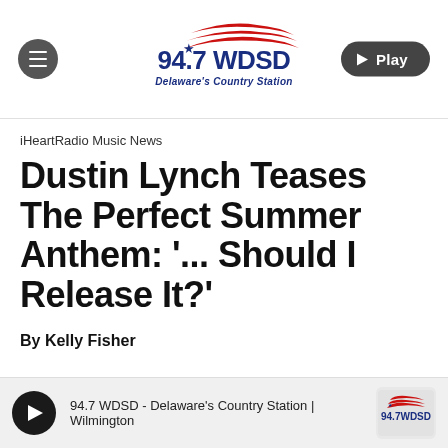[Figure (logo): 94.7 WDSD Delaware's Country Station radio logo with red swoosh stripes and blue star]
iHeartRadio Music News
Dustin Lynch Teases The Perfect Summer Anthem: '... Should I Release It?'
By Kelly Fisher
94.7 WDSD - Delaware's Country Station | Wilmington